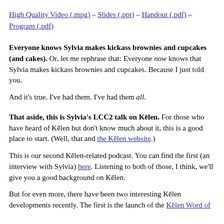High Quality Video (.mpg) – Slides (.ppt) – Handout (.pdf) – Program (.pdf)
Everyone knows Sylvia makes kickass brownies and cupcakes (and cakes). Or, let me rephrase that: Everyone now knows that Sylvia makes kickass brownies and cupcakes. Because I just told you.
And it's true. I've had them. I've had them all.
That aside, this is Sylvia's LCC2 talk on Kēlen. For those who have heard of Kēlen but don't know much about it, this is a good place to start. (Well, that and the Kēlen website.)
This is our second Kēlen-related podcast. You can find the first (an interview with Sylvia) here. Listening to both of those, I think, we'll give you a good background on Kēlen.
But for even more, there have been two interesting Kēlen developments recently. The first is the launch of the Kēlen Word of